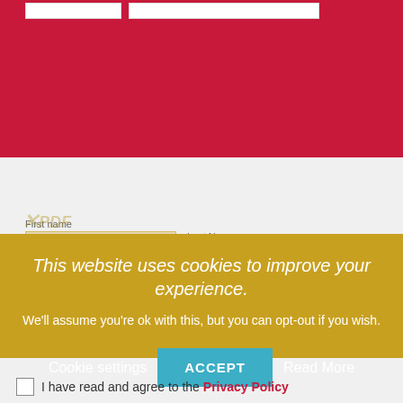[Figure (screenshot): Top red banner with form input fields partially visible]
[Figure (screenshot): Cookie consent overlay dialog with golden/yellow-brown background showing title, description, ACCEPT button, Cookie settings and Read More links]
This website uses cookies to improve your experience.
We'll assume you're ok with this, but you can opt-out if you wish.
ACCEPT
Cookie settings
Read More
First name
Last Name
Email address
I have read and agree to the Privacy Policy